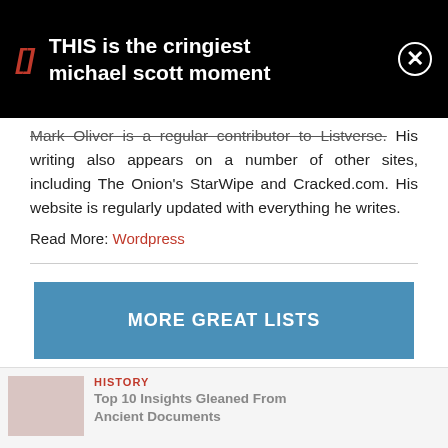[Figure (screenshot): Black banner with bracket icon, text 'THIS is the cringiest michael scott moment', and a close button]
Mark Oliver is a regular contributor to Listverse. His writing also appears on a number of other sites, including The Onion's StarWipe and Cracked.com. His website is regularly updated with everything he writes.
Read More: Wordpress
MORE GREAT LISTS
HISTORY
Top 10 Insights Gleaned From Ancient Documents